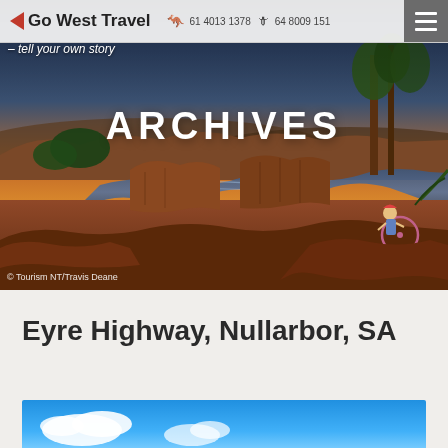Go West Travel – tell your own story | 61 4013 1378 | 64 8009151
[Figure (photo): Aerial landscape photo of a river winding through rocky gorge with lush vegetation at sunset/golden hour, a cyclist visible in the foreground right on rocky cliff edge. Caption: © Tourism NT/Travis Deane]
ARCHIVES
© Tourism NT/Travis Deane
Eyre Highway, Nullarbor, SA
[Figure (photo): Partial photo showing blue sky with white clouds, bottom portion of article thumbnail image]